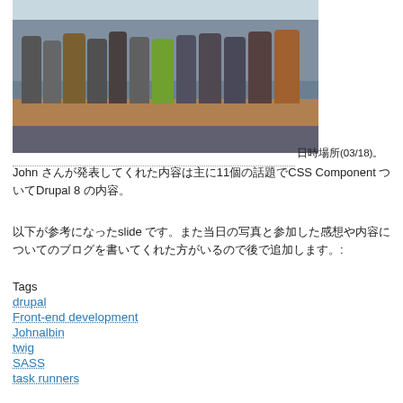[Figure (photo): Group photo of approximately 13 people standing/sitting around a conference table in an office meeting room]
日時場所(03/18)。Johnさんが発表してくれた内容は主に11個の話題でCSS ComponentとDrupal 8の内容。
以下が参考になったslideです。また当日の写真と参加した感想や内容についてのブログを書いてくれた方がいるので後で追加します。:
Tags
drupal
Front-end development
Johnalbin
twig
SASS
task runners